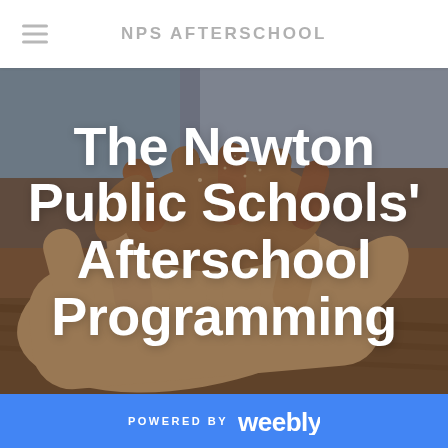NPS AFTERSCHOOL
[Figure (photo): Two hands palm-up — a child's smaller hand resting on top of an adult's larger hand, with a warm, earthy background suggesting a rug or wooden floor]
The Newton Public Schools' Afterschool Programming
POWERED BY weebly